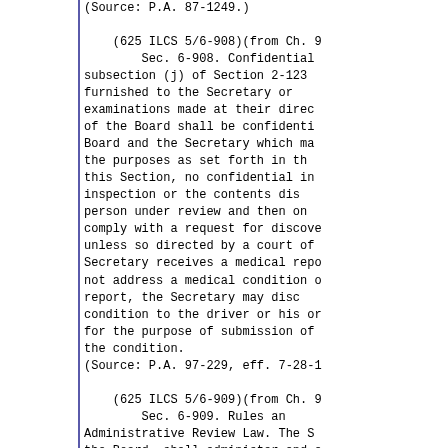(Source: P.A. 87-1249.)
(625 ILCS 5/6-908)(from Ch. 9
        Sec. 6-908. Confidential
subsection (j) of Section 2-123
furnished to the Secretary or
examinations made at their direc
of the Board shall be confidenti
Board and the Secretary which ma
the purposes as set forth in th
this Section, no confidential in
inspection or the contents dis
person under review and then on
comply with a request for discove
unless so directed by a court of
Secretary receives a medical repo
not address a medical condition o
report, the Secretary may disc
condition to the driver or his or
for the purpose of submission of
the condition.
(Source: P.A. 97-229, eff. 7-28-1
(625 ILCS 5/6-909)(from Ch. 9
        Sec. 6-909. Rules an
Administrative Review Law. The S
the Board, shall administer and e
the power to make and institute r
as necessary to carry out the pro
(Source: P.A. 87-1249.)